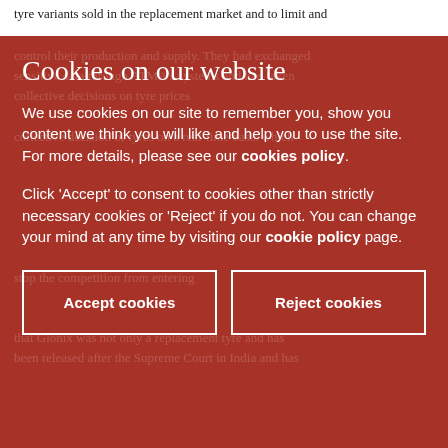tyre variants sold in the replacement market and to limit and
Cookies on our website
We use cookies on our site to remember you, show you content we think you will like and help you to use the site. For more details, please see our cookies policy.
Click 'Accept' to consent to cookies other than strictly necessary cookies or 'Reject' if you do not. You can change your mind at any time by visiting our cookie policy page.
Accept cookies
Reject cookies